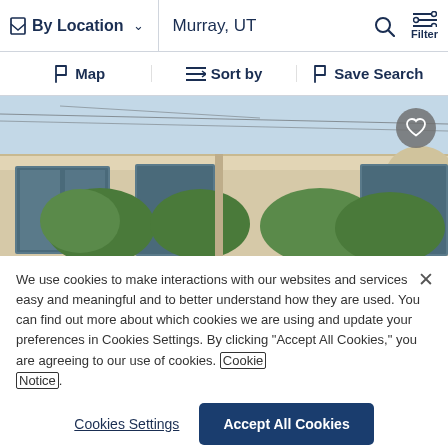By Location  Murray, UT  Filter
Map  Sort by  Save Search
[Figure (photo): Exterior photo of a commercial office building with large glass windows and trees in front, under a blue sky with power lines visible]
We use cookies to make interactions with our websites and services easy and meaningful and to better understand how they are used. You can find out more about which cookies we are using and update your preferences in Cookies Settings. By clicking "Accept All Cookies," you are agreeing to our use of cookies. Cookie Notice.
Cookies Settings  Accept All Cookies